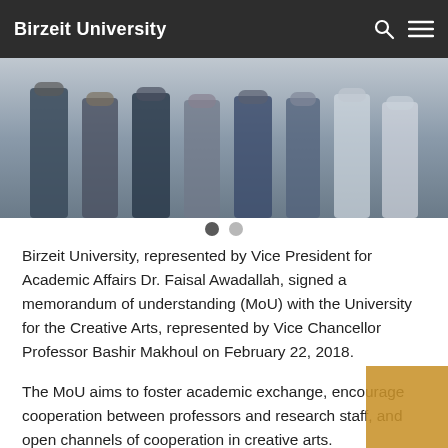Birzeit University
[Figure (photo): Group photo of people standing together, cropped to show bodies from approximately waist down, in indoor or outdoor setting.]
Birzeit University, represented by Vice President for Academic Affairs Dr. Faisal Awadallah, signed a memorandum of understanding (MoU) with the University for the Creative Arts, represented by Vice Chancellor Professor Bashir Makhoul on February 22, 2018.
The MoU aims to foster academic exchange, encourage cooperation between professors and research staff, and open channels of cooperation in creative arts.
Attending the signing were Vice President for Planning and Development at Birzeit University Dr. Mirvat Bulbul, Grants and Contracts Officer Dr. Amir Khalil, and Director